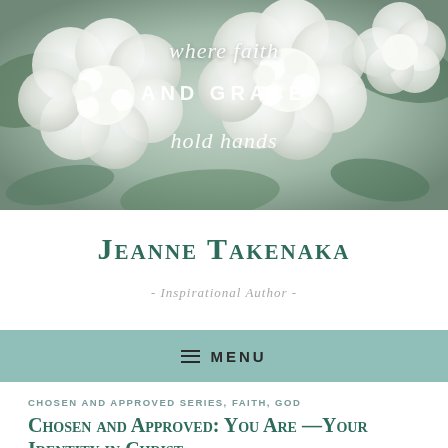[Figure (photo): Header photo of white hydrangea flowers with overlaid italic and uppercase text reading 'where faith AND GRACE hold hands']
Jeanne Takenaka
- Inspirational Author -
≡ MENU
CHOSEN AND APPROVED SERIES, FAITH, GOD
Chosen and Approved: You Are —Your Identity in Christ
October 31, 2016  Jeanne Takenaka